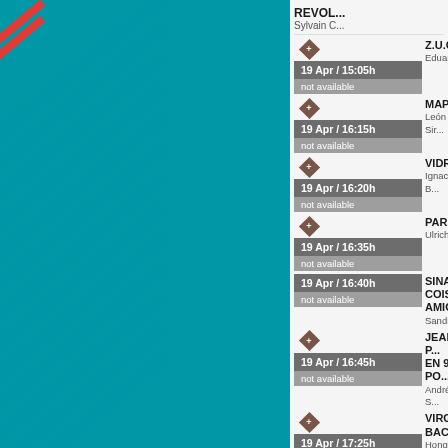REVOL... Sylvain C...
19 Apr / 15:05h | not available | Z.U.G.A... | Eduardo...
19 Apr / 16:15h | not available | MAPA | León Sir...
19 Apr / 16:20h | not available | VIDRIO... | Ignacio B...
19 Apr / 16:35h | not available | PARAD... | Ulrich Se...
19 Apr / 16:40h | not available | SINAIS COISAS... AMIGA | Sandro A...
19 Apr / 16:45h | not available | JEAN-P... EN 9 PO... | André S...
19 Apr / 17:25h | not available | VIRGIN... BACHE... | Hong Sa...
19 Apr / 17:35h | not available | BEATR... DOCU... VENT...